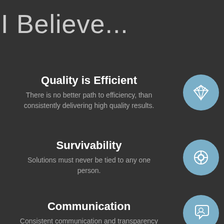I Believe...
Quality is Efficient
There is no better path to efficiency, than consistently delivering high quality results.
Survivability
Solutions must never be tied to any one person.
Communication
Consistent communication and transparency